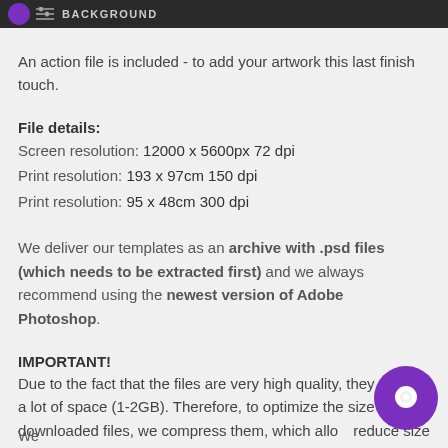[Figure (screenshot): Dark toolbar header bar with purple circle icon, slider/layers icon, and 'BACKGROUND' text label in gray]
An action file is included - to add your artwork this last finish touch.
File details:
Screen resolution: 12000 x 5600px 72 dpi
Print resolution: 193 x 97cm 150 dpi
Print resolution: 95 x 48cm 300 dpi
We deliver our templates as an archive with .psd files (which needs to be extracted first) and we always recommend using the newest version of Adobe Photoshop.
IMPORTANT!
Due to the fact that the files are very high quality, they take up a lot of space (1-2GB). Therefore, to optimize the size of the downloaded files, we compress them, which allows reduce size by 3 times. Remember to extract the file
We...